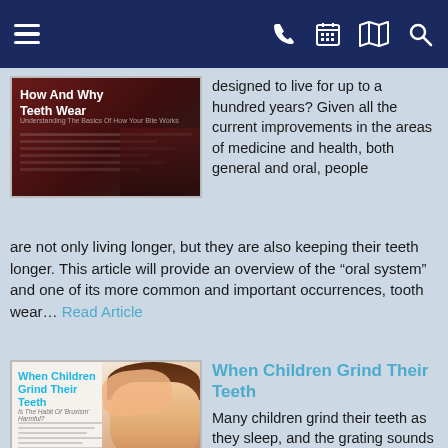[Figure (screenshot): Mobile website navigation bar with dark navy background, hamburger menu icon on left, phone/calendar/map/search icons on right]
[Figure (photo): Thumbnail of 'How And Why Teeth Wear' article magazine cover with dark red/brown background]
designed to live for up to a hundred years? Given all the current improvements in the areas of medicine and health, both general and oral, people are not only living longer, but they are also keeping their teeth longer. This article will provide an overview of the "oral system" and one of its more common and important occurrences, tooth wear... Read Article
[Figure (photo): Thumbnail of 'When Children Grind Their Teeth' article magazine cover showing a child with hands on head]
When Children Grind Their Teeth
Many children grind their teeth as they sleep, and the grating sounds of this habit can really set a parent's own teeth on edge. But is tooth grinding (also called "bruxism") harmful? And can — or should — anything be done to break the habit? Dear Doctor magazine shines a light on this